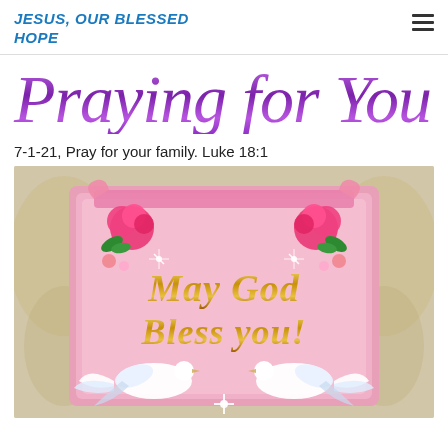JESUS, OUR BLESSED HOPE
[Figure (illustration): Praying for You - decorative cursive text banner in purple gradient]
7-1-21, Pray for your family. Luke 18:1
[Figure (illustration): Decorative religious greeting card image with pink background, roses, white doves, and gold script text reading 'May God Bless you!']